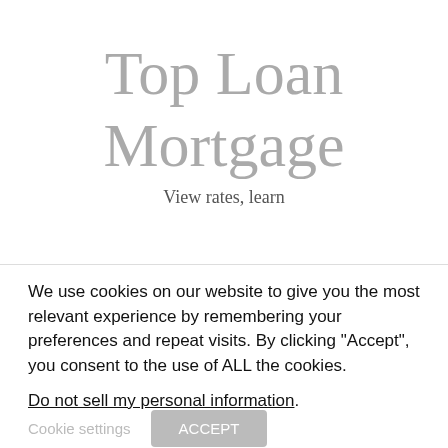Top Loan Mortgage
View rates, learn
We use cookies on our website to give you the most relevant experience by remembering your preferences and repeat visits. By clicking “Accept”, you consent to the use of ALL the cookies.
Do not sell my personal information.
Cookie settings   ACCEPT